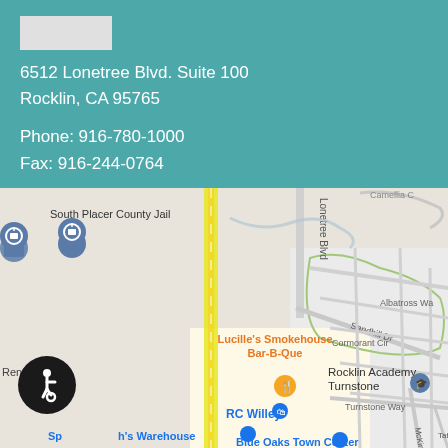[Figure (other): Organization logo placeholder (white rectangle)]
6512 Lonetree Blvd. Suite 100
Rocklin, CA 95765
Phone: 916-780-1000
Fax: 916-244-0764
[Figure (map): Google Maps view showing the area around 6512 Lonetree Blvd, Rocklin CA 95765. Shows South Placer County Jail, Lonetree Blvd, Sandhill Dr, Albatross Way, Cormorant Cir, Rocklin Academy Turnstone, Turnstone Way, RC Willey, Lucille's Smokehouse Bar-B-Que, Rentals, Blue Oaks Town Center, Taft Dr, McKinley St. Yellow vertical highway/road on left side.]